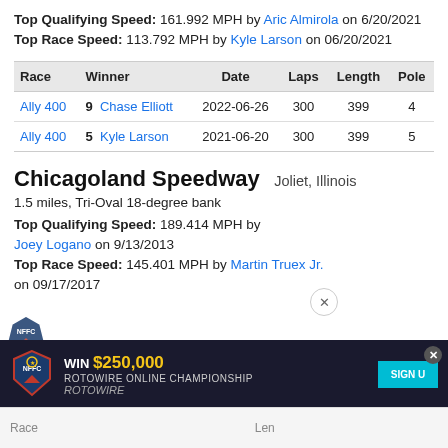Top Qualifying Speed: 161.992 MPH by Aric Almirola on 6/20/2021
Top Race Speed: 113.792 MPH by Kyle Larson on 06/20/2021
| Race | Winner | Date | Laps | Length | Pole |
| --- | --- | --- | --- | --- | --- |
| Ally 400 | 9  Chase Elliott | 2022-06-26 | 300 | 399 | 4 |
| Ally 400 | 5  Kyle Larson | 2021-06-20 | 300 | 399 | 5 |
Chicagoland Speedway   Joliet, Illinois
1.5 miles, Tri-Oval 18-degree bank
Top Qualifying Speed: 189.414 MPH by Joey Logano on 9/13/2013
Top Race Speed: 145.401 MPH by Martin Truex Jr. on 09/17/2017
[Figure (infographic): Advertisement banner: WIN $250,000 ROTOWIRE ONLINE CHAMPIONSHIP with NFFC shield logo and SIGN UP button]
Race ... Len
Camping World 400  88  Alex Bowman  2019-06-30  367